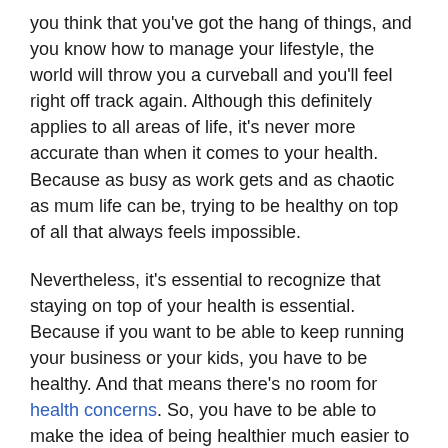you think that you've got the hang of things, and you know how to manage your lifestyle, the world will throw you a curveball and you'll feel right off track again. Although this definitely applies to all areas of life, it's never more accurate than when it comes to your health. Because as busy as work gets and as chaotic as mum life can be, trying to be healthy on top of all that always feels impossible.
Nevertheless, it's essential to recognize that staying on top of your health is essential. Because if you want to be able to keep running your business or your kids, you have to be healthy. And that means there's no room for health concerns. So, you have to be able to make the idea of being healthier much easier to get on board with, and even easier to apply to your life. Want to know how to make it work for you? Then these ten tips should easily help to keep you healthy!
Get Organized